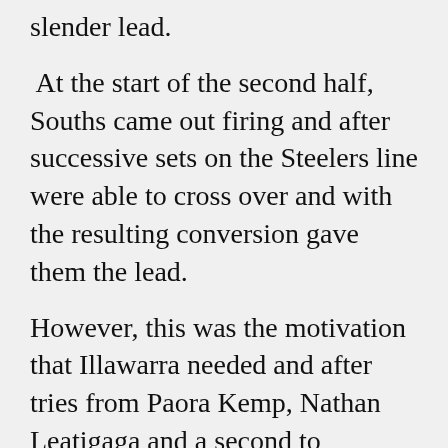slender lead.
At the start of the second half, Souths came out firing and after successive sets on the Steelers line were able to cross over and with the resulting conversion gave them the lead.
However, this was the motivation that Illawarra needed and after tries from Paora Kemp, Nathan Leatigaga and a second to Brendan Woods, the Steelers were able to walk away with a 16 point win.
This was a great win for Illawarra against a significantly larger side and will give them plenty of confidence heading into the important